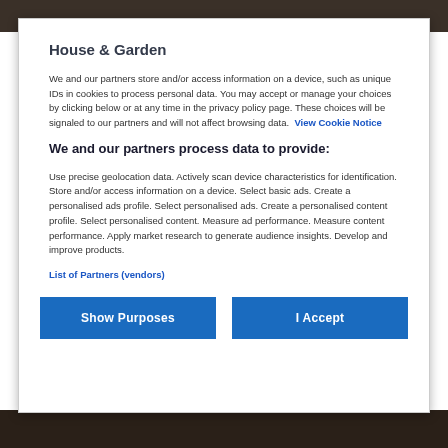House & Garden
We and our partners store and/or access information on a device, such as unique IDs in cookies to process personal data. You may accept or manage your choices by clicking below or at any time in the privacy policy page. These choices will be signaled to our partners and will not affect browsing data. View Cookie Notice
We and our partners process data to provide:
Use precise geolocation data. Actively scan device characteristics for identification. Store and/or access information on a device. Select basic ads. Create a personalised ads profile. Select personalised ads. Create a personalised content profile. Select personalised content. Measure ad performance. Measure content performance. Apply market research to generate audience insights. Develop and improve products.
List of Partners (vendors)
Show Purposes
I Accept